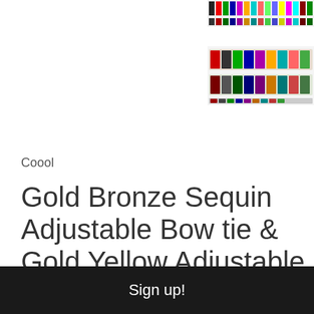[Figure (photo): Small thumbnail strip of colorful bow ties and suspenders products at top right]
[Figure (photo): Medium thumbnail strip of colorful bow ties and suspenders products at middle right]
Coool
Gold Bronze Sequin Adjustable Bow tie & Gold Yellow Adjustable Suspenders Combo
$12.99
Sign up!